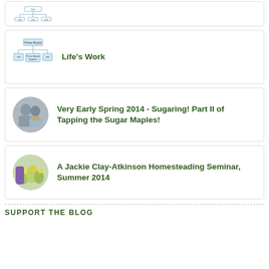[Figure (screenshot): Small diagram thumbnail showing a tree/organization chart structure]
[Figure (screenshot): Small organizational diagram labeled 'Prince Woods' with sub-nodes including 'Prince Woods Supplies']
Life's Work
[Figure (photo): Circular photo of two women smiling outdoors]
Very Early Spring 2014 - Sugaring! Part II of Tapping the Sugar Maples!
[Figure (photo): Circular photo of flowers/garden in purple and yellow]
A Jackie Clay-Atkinson Homesteading Seminar, Summer 2014
SUPPORT THE BLOG